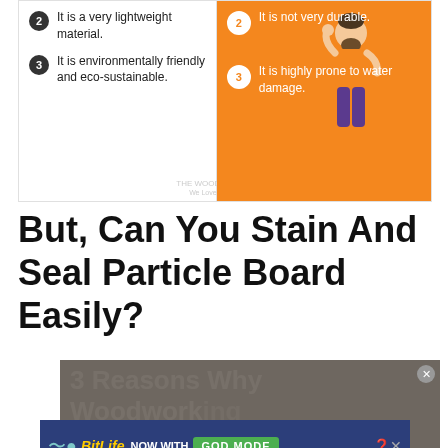[Figure (infographic): Two-column infographic comparing pros and cons of particle board. Left (white): item 2 - It is a very lightweight material; item 3 - It is environmentally friendly and eco-sustainable. Right (orange): item 2 - It is not very durable; item 3 - It is highly prone to water damage. A cartoon man in an orange shirt is illustrated on the right panel. Watermark reads THE WOODWORK PLACE We Love Woodworking.]
But, Can You Stain And Seal Particle Board Easily?
[Figure (screenshot): Video player area showing text '3 Reasons Why Woodworking Is So Good For You' partially visible in the background with a media error overlay reading 'No compatible source was found for this media.' and a large X close button. A close button (x) appears in the top-right corner.]
[Figure (other): Advertisement banner for BitLife app. Dark blue background with BitLife logo in yellow italic text, 'NOW WITH' in white, and 'GOD MODE' in green box. Ad close button on right with question mark and X icons.]